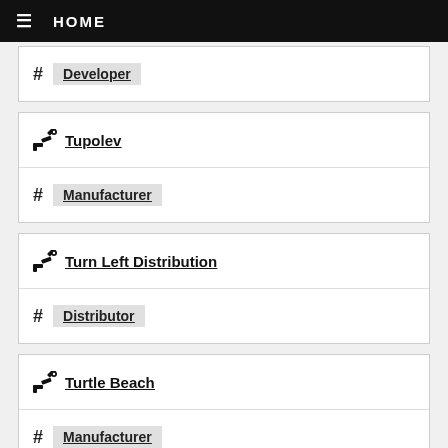HOME
# Developer
[robot-arm] Tupolev
# Manufacturer
[robot-arm] Turn Left Distribution
# Distributor
[robot-arm] Turtle Beach
# Manufacturer